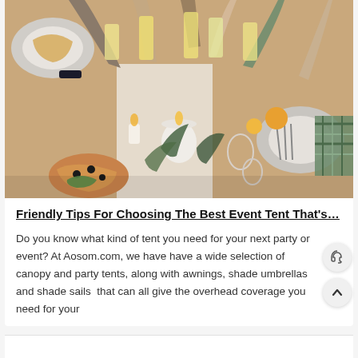[Figure (photo): Overhead view of people clinking glasses at a dinner party table with candles, food plates, and floral decorations]
Friendly Tips For Choosing The Best Event Tent That's…
Do you know what kind of tent you need for your next party or event? At Aosom.com, we have have a wide selection of canopy and party tents, along with awnings, shade umbrellas and shade sails  that can all give the overhead coverage you need for your